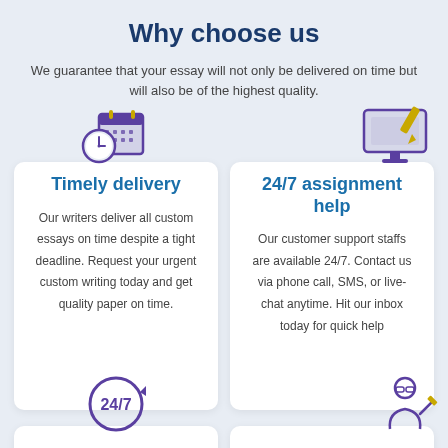Why choose us
We guarantee that your essay will not only be delivered on time but will also be of the highest quality.
[Figure (illustration): Calendar with clock icon representing timely delivery]
Timely delivery
Our writers deliver all custom essays on time despite a tight deadline. Request your urgent custom writing today and get quality paper on time.
[Figure (illustration): Computer monitor with pencil icon representing 24/7 assignment help]
24/7 assignment help
Our customer support staffs are available 24/7. Contact us via phone call, SMS, or live-chat anytime. Hit our inbox today for quick help
[Figure (illustration): 24/7 circular arrow icon for pricing section]
[Figure (illustration): Person writing icon for US Custom section]